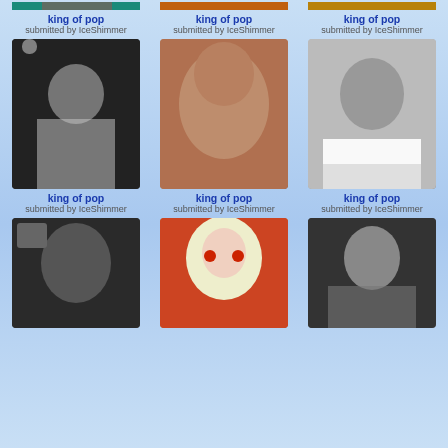[Figure (photo): Row 1 col 1 - Michael Jackson photo (partially visible top), colorful costume on teal background]
king of pop
submitted by IceShimmer
[Figure (photo): Row 1 col 2 - Michael Jackson photo (partially visible top), cowboy outfit with orange fire background]
king of pop
submitted by IceShimmer
[Figure (photo): Row 1 col 3 - Michael Jackson photo (partially visible top), gold/tiger striped outfit]
king of pop
submitted by IceShimmer
[Figure (photo): Row 2 col 1 - Michael Jackson black and white photo, shirtless]
king of pop
submitted by IceShimmer
[Figure (photo): Row 2 col 2 - Michael Jackson close-up face photo, brown skin tone]
king of pop
submitted by IceShimmer
[Figure (photo): Row 2 col 3 - Michael Jackson black and white portrait, white collar]
king of pop
submitted by IceShimmer
[Figure (photo): Row 3 col 1 - Michael Jackson portrait, dark background (partially cut off at bottom)]
[Figure (photo): Row 3 col 2 - Michael Jackson clown/mime makeup costume (partially cut off at bottom)]
[Figure (photo): Row 3 col 3 - Michael Jackson standing in striped shirt (partially cut off at bottom)]